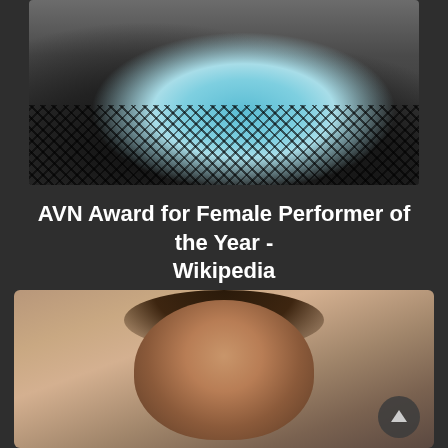[Figure (photo): Cropped photo of person wearing teal/blue lace underwear and black fishnet/lace stockings, dark background]
AVN Award for Female Performer of the Year - Wikipedia
[Figure (photo): Portrait photo of a young woman with short dark brown wavy hair, wearing dark clothing, looking over her shoulder, indoor background with blinds and curtains]
[Figure (other): Scroll-to-top button (upward chevron arrow) in bottom right corner]